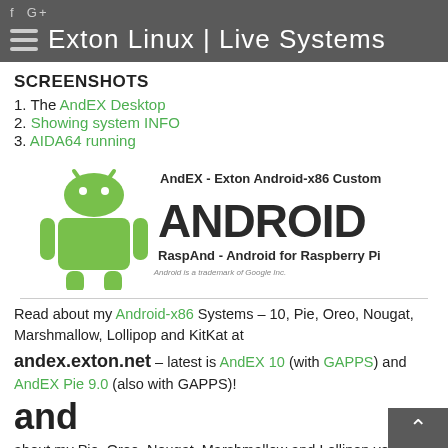f G+  Exton Linux | Live Systems
SCREENSHOTS
1. The AndEX Desktop
2. Showing system INFO
3. AIDA64 running
[Figure (logo): Android logo with text: AndEX - Exton Android-x86 Custom, ANDROID, RaspAnd - Android for Raspberry Pi, Android is a trademark of Google Inc.]
Read about my Android-x86 Systems – 10, Pie, Oreo, Nougat, Marshmallow, Lollipop and KitKat at
andex.exton.net – latest is AndEX 10 (with GAPPS) and AndEX Pie 9.0 (also with GAPPS)!
and
about my Pie, Oreo, Nougat, Marshmallow and Lollipop versions for Raspberry Pi 3/2 at